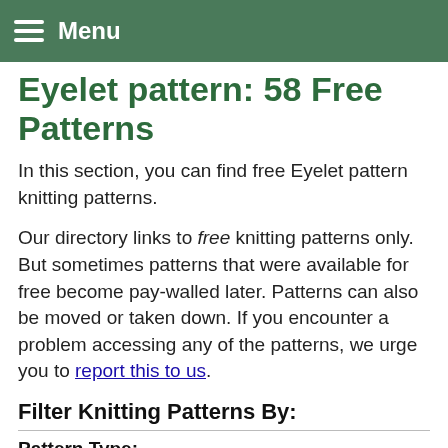Menu
Eyelet pattern: 58 Free Patterns
In this section, you can find free Eyelet pattern knitting patterns.
Our directory links to free knitting patterns only. But sometimes patterns that were available for free become pay-walled later. Patterns can also be moved or taken down. If you encounter a problem accessing any of the patterns, we urge you to report this to us.
Filter Knitting Patterns By:
Pattern Type:
Accessories , Afghans and Throws , Baby , Bags , Capes ,